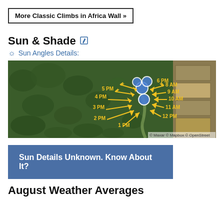More Classic Climbs in Africa Wall »
Sun & Shade
Sun Angles Details:
[Figure (map): Aerial/satellite map with sun angle arrows labeled with times: 1 PM, 2 PM, 3 PM, 4 PM, 5 PM, 6 PM on left side; 8 AM, 9 AM, 10 AM, 11 AM, 12 PM on right side. Blue circle markers at center. Attribution: © Maxar © Mapbox © OpenStreet]
Sun Details Unknown. Know About It?
August Weather Averages